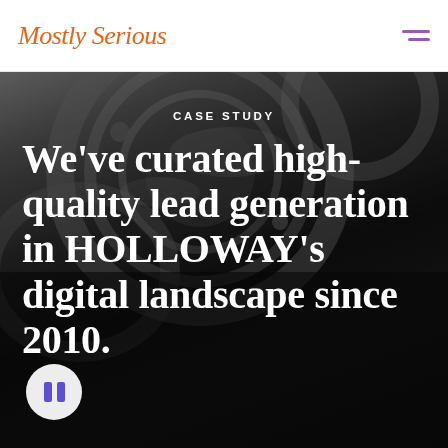Mostly Serious
[Figure (photo): Close-up photograph of metallic industrial machinery/gears being handled by a person in a blue glove, used as a dark hero background image]
CASE STUDY
We've curated high-quality lead generation in HOLLOWAY's digital landscape since 2010.